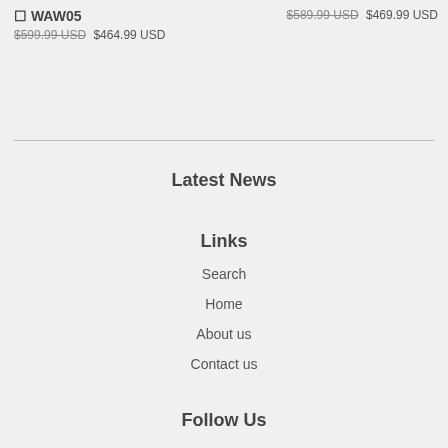☐ WAW05 $599.99 USD $464.99 USD
$589.99 USD $469.99 USD
Latest News
Links
Search
Home
About us
Contact us
Follow Us